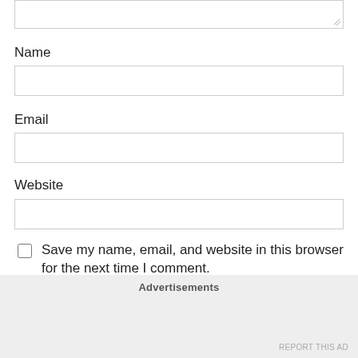Name
Email
Website
Save my name, email, and website in this browser for the next time I comment.
Advertisements
REPORT THIS AD